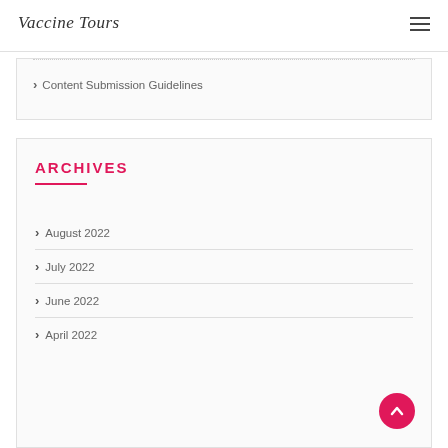Vaccine Tours
Content Submission Guidelines
ARCHIVES
August 2022
July 2022
June 2022
April 2022